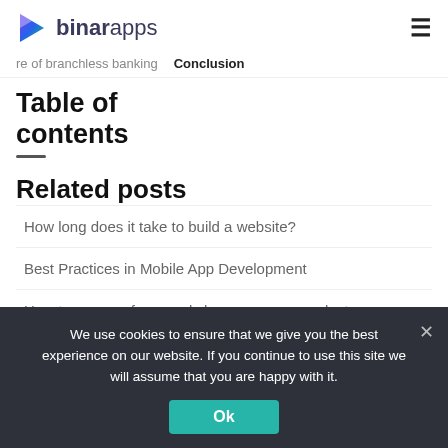binarapps
Table of contents
Related posts
How long does it take to build a website?
Best Practices in Mobile App Development
How to prepare for a workshop on a new product or new functionality?
We use cookies to ensure that we give you the best experience on our website. If you continue to use this site we will assume that you are happy with it.